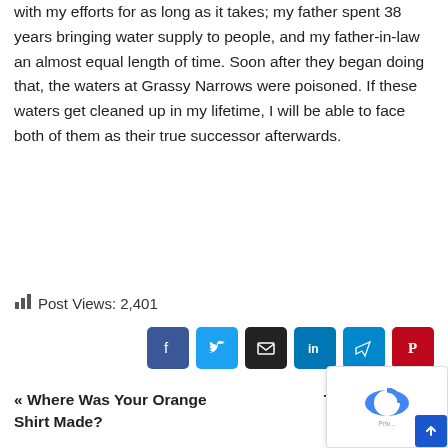with my efforts for as long as it takes; my father spent 38 years bringing water supply to people, and my father-in-law an almost equal length of time. Soon after they began doing that, the waters at Grassy Narrows were poisoned. If these waters get cleaned up in my lifetime, I will be able to face both of them as their true successor afterwards.
Post Views: 2,401
[Figure (infographic): Social share buttons: Facebook, Twitter, Email, LinkedIn, Telegram, Pinterest]
« Where Was Your Orange Shirt Made?
Trained Force»